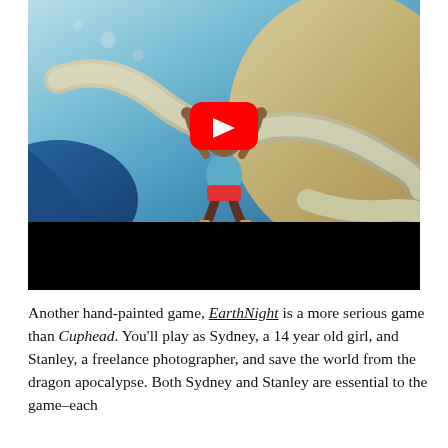[Figure (screenshot): Video thumbnail of EarthNight game showing a hand-painted scene with a child character jumping in a fantastical world with large serpent/dragon shapes, blue sky and spherical planet. A red YouTube play button overlay is visible in the center. A black bar appears at the bottom of the video frame.]
Another hand-painted game, EarthNight is a more serious game than Cuphead. You'll play as Sydney, a 14 year old girl, and Stanley, a freelance photographer, and save the world from the dragon apocalypse. Both Sydney and Stanley are essential to the game–each